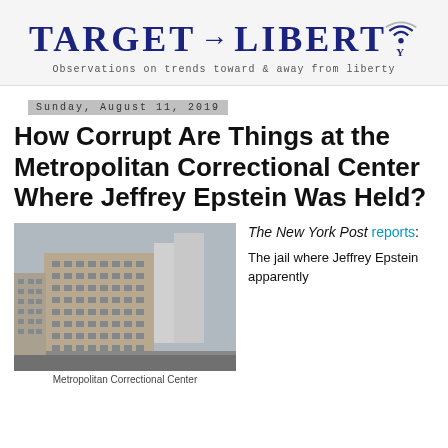[Figure (logo): Target Liberty logo with signal/wifi icon and tagline]
Sunday, August 11, 2019
How Corrupt Are Things at the Metropolitan Correctional Center Where Jeffrey Epstein Was Held?
[Figure (photo): Exterior photo of the Metropolitan Correctional Center building]
Metropolitan Correctional Center
The New York Post reports: The jail where Jeffrey Epstein apparently